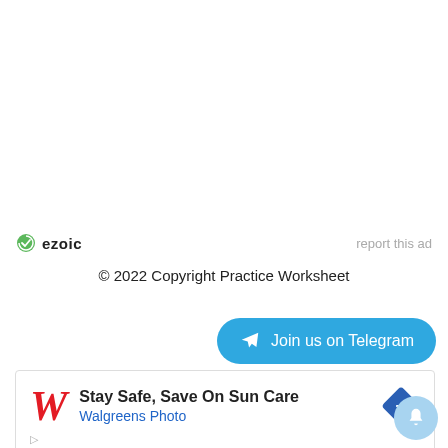[Figure (logo): Ezoic logo with green circular icon and bold 'ezoic' text, with 'report this ad' link on the right]
© 2022 Copyright Practice Worksheet
[Figure (other): Blue rounded button with Telegram plane icon: 'Join us on Telegram']
[Figure (other): Advertisement banner: Walgreens cursive W logo, 'Stay Safe, Save On Sun Care', 'Walgreens Photo', blue navigation diamond icon, play and close controls]